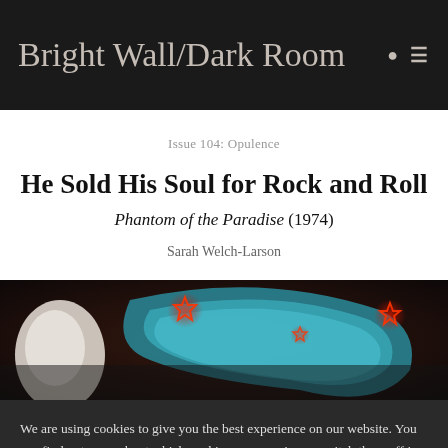Bright Wall/Dark Room
Issue 104: Opulence
He Sold His Soul for Rock and Roll
Phantom of the Paradise (1974)
Sarah Welch-Larson
[Figure (photo): Stylized banner image from Phantom of the Paradise (1974) showing a phantom figure with teal headphones and red glowing stars on a dark background]
We are using cookies to give you the best experience on our website. You can find out more about which cookies we are using or switch them off in settings.